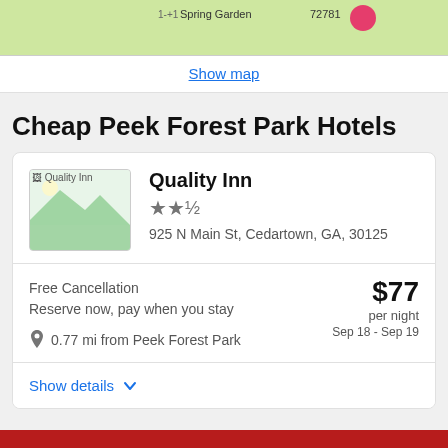[Figure (map): Partial map strip showing Spring Garden area with green terrain]
Show map
Cheap Peek Forest Park Hotels
Quality Inn
★★½
925 N Main St, Cedartown, GA, 30125
Free Cancellation
Reserve now, pay when you stay
$77 per night
Sep 18 - Sep 19
0.77 mi from Peek Forest Park
Show details